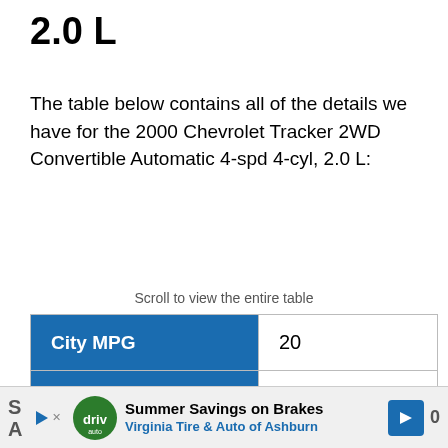2.0 L
The table below contains all of the details we have for the 2000 Chevrolet Tracker 2WD Convertible Automatic 4-spd 4-cyl, 2.0 L:
Scroll to view the entire table
|  |  |
| --- | --- |
| City MPG | 20 |
| Highway MPG | 23 |
| Combined MPG | 22 |